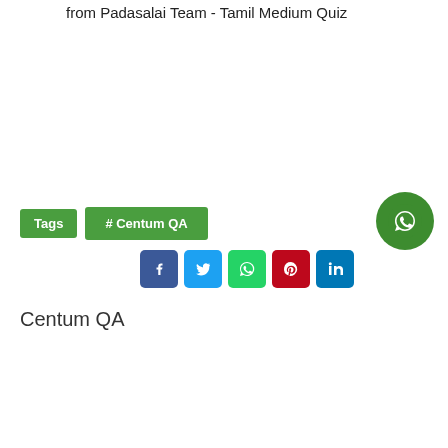from Padasalai Team - Tamil Medium Quiz
Tags  # Centum QA
[Figure (other): WhatsApp contact button - green circle with WhatsApp phone icon]
[Figure (other): Social media share buttons: Facebook, Twitter, WhatsApp, Pinterest, LinkedIn]
Centum QA